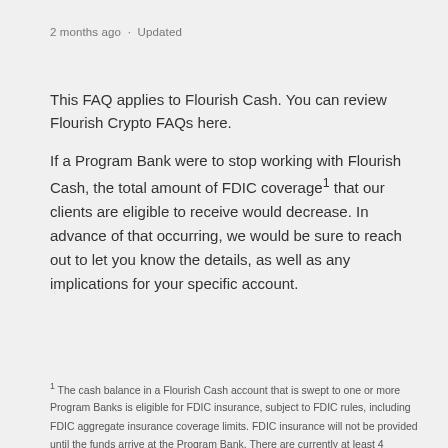2 months ago · Updated
This FAQ applies to Flourish Cash. You can review Flourish Crypto FAQs here.
If a Program Bank were to stop working with Flourish Cash, the total amount of FDIC coverage¹ that our clients are eligible to receive would decrease. In advance of that occurring, we would be sure to reach out to let you know the details, as well as any implications for your specific account.
¹ The cash balance in a Flourish Cash account that is swept to one or more Program Banks is eligible for FDIC insurance, subject to FDIC rules, including FDIC aggregate insurance coverage limits. FDIC insurance will not be provided until the funds arrive at the Program Bank. There are currently at least 4 Program Banks available to